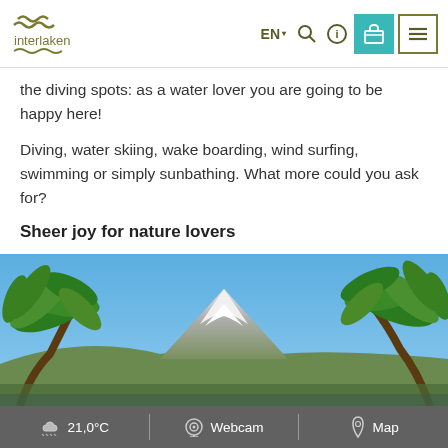interlaken — EN / Search / Info / Bag / Menu
the diving spots: as a water lover you are going to be happy here!
Diving, water skiing, wake boarding, wind surfing, swimming or simply sunbathing. What more could you ask for?
Sheer joy for nature lovers
[Figure (photo): Scenic view of a snow-capped mountain peak framed by palm trees under a clear blue sky]
☁ 21,0°C   Webcam   Map